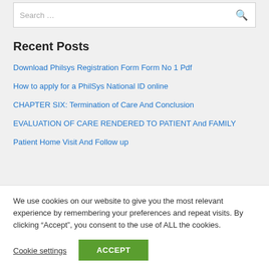Search …
Recent Posts
Download Philsys Registration Form Form No 1 Pdf
How to apply for a PhilSys National ID online
CHAPTER SIX: Termination of Care And Conclusion
EVALUATION OF CARE RENDERED TO PATIENT And FAMILY
Patient Home Visit And Follow up
We use cookies on our website to give you the most relevant experience by remembering your preferences and repeat visits. By clicking “Accept”, you consent to the use of ALL the cookies.
Cookie settings
ACCEPT